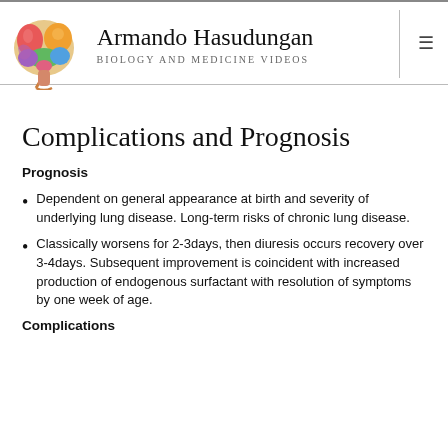Armando Hasudungan
BIOLOGY AND MEDICINE VIDEOS
Complications and Prognosis
Prognosis
Dependent on general appearance at birth and severity of underlying lung disease. Long-term risks of chronic lung disease.
Classically worsens for 2-3days, then diuresis occurs recovery over 3-4days. Subsequent improvement is coincident with increased production of endogenous surfactant with resolution of symptoms by one week of age.
Complications